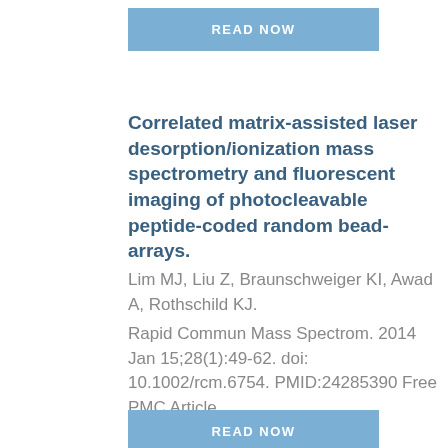[Figure (other): READ NOW button at top]
Correlated matrix-assisted laser desorption/ionization mass spectrometry and fluorescent imaging of photocleavable peptide-coded random bead-arrays.
Lim MJ, Liu Z, Braunschweiger KI, Awad A, Rothschild KJ.
Rapid Commun Mass Spectrom. 2014 Jan 15;28(1):49-62. doi: 10.1002/rcm.6754. PMID:24285390 Free PMC Article
[Figure (other): READ NOW button]
Multiplexed VeraCode bead-based